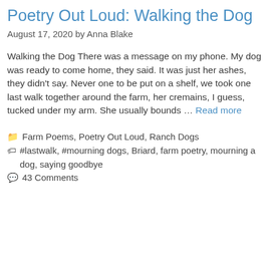Poetry Out Loud: Walking the Dog
August 17, 2020 by Anna Blake
Walking the Dog There was a message on my phone. My dog was ready to come home, they said. It was just her ashes, they didn't say. Never one to be put on a shelf, we took one last walk together around the farm, her cremains, I guess, tucked under my arm. She usually bounds … Read more
Farm Poems, Poetry Out Loud, Ranch Dogs
#lastwalk, #mourning dogs, Briard, farm poetry, mourning a dog, saying goodbye
43 Comments